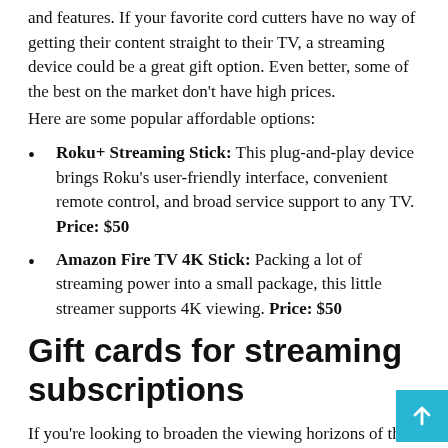and features. If your favorite cord cutters have no way of getting their content straight to their TV, a streaming device could be a great gift option. Even better, some of the best on the market don't have high prices.
Here are some popular affordable options:
Roku+ Streaming Stick: This plug-and-play device brings Roku's user-friendly interface, convenient remote control, and broad service support to any TV. Price: $50
Amazon Fire TV 4K Stick: Packing a lot of streaming power into a small package, this little streamer supports 4K viewing. Price: $50
Gift cards for streaming subscriptions
If you're looking to broaden the viewing horizons of the cord-cutters in your life, giving them access to a streaming subscription can give them a whole range of new content. Unfortunately, these subscriptions can be quite affordable